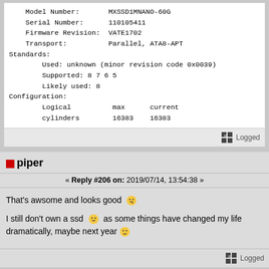Model Number:       MXSSD1MNANO-60G
Serial Number:      110105411
Firmware Revision:  VATE1702
Transport:          Parallel, ATA8-APT
Standards:
        Used: unknown (minor revision code 0x0039)
        Supported: 8 7 6 5
        Likely used: 8
Configuration:
        Logical          max      current
        cylinders        16383    16383
Logged
piper
« Reply #206 on: 2019/07/14, 13:54:38 »
That's awsome and looks good 😛
I still don't own a ssd 😕 as some things have changed my life dramatically, maybe next year 🙂
Logged